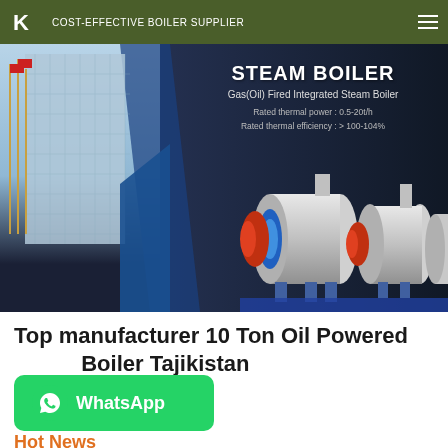COST-EFFECTIVE BOILER SUPPLIER
[Figure (screenshot): Steam boiler product banner showing Gas(Oil) Fired Integrated Steam Boiler with rated thermal power 0.5-20t/h and rated thermal efficiency > 100-104%, with industrial building on left and three boiler machines on right]
Top manufacturer 10 Ton Oil Powered Boiler Tajikistan
[Figure (logo): WhatsApp button — green rounded rectangle with WhatsApp icon and text 'WhatsApp']
Hot News